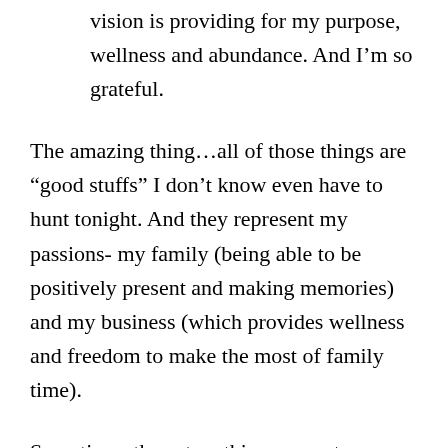vision is providing for my purpose, wellness and abundance. And I’m so grateful.
The amazing thing…all of those things are “good stuffs” I don’t know even have to hunt tonight. And they represent my passions- my family (being able to be positively present and making memories) and my business (which provides wellness and freedom to make the most of family time).
Sometimes those two things seem to collide…along with some of the other hats I wear (#Armylife)…I have so many ideas, hopes and dreams for my business and for my family…and I never seem to have enough time to get it all done. But, Tully showed me the danger of letting that consume me—to build. My design is…